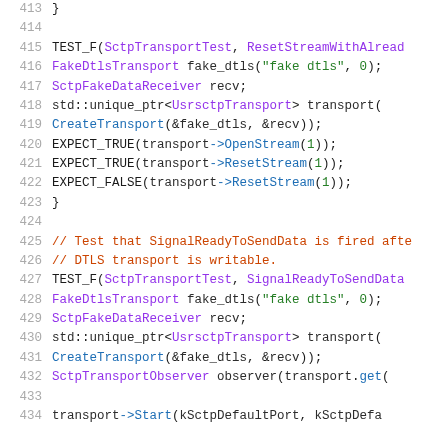Source code listing, lines 413-434, C++ unit test file for SCTP transport.